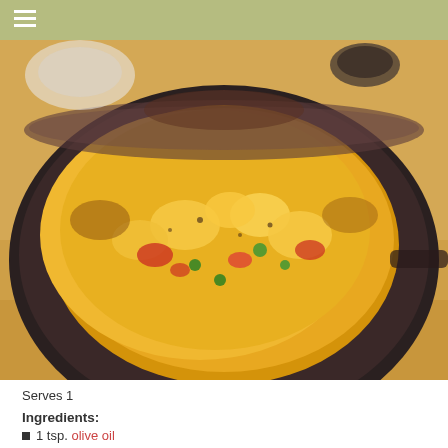≡
[Figure (photo): A dark cast iron skillet/pan filled with a spiced yellow rice or egg dish with vegetables including green peas, red peppers, and cauliflower pieces, sitting on a dark trivet on a wooden surface.]
Serves 1
Ingredients:
1 tsp. olive oil